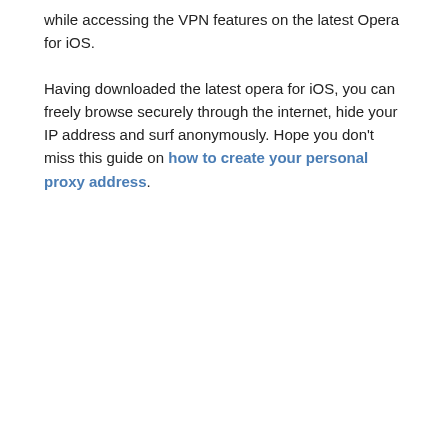while accessing the VPN features on the latest Opera for iOS.
Having downloaded the latest opera for iOS, you can freely browse securely through the internet, hide your IP address and surf anonymously. Hope you don't miss this guide on how to create your personal proxy address.